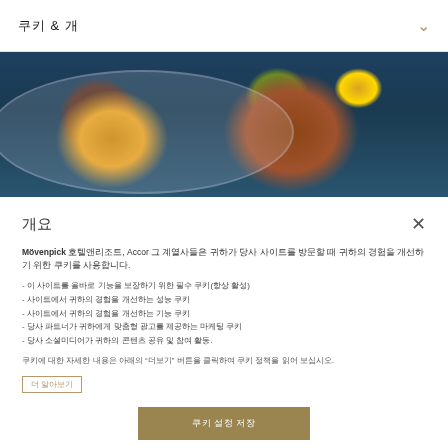쿠키 & 개
[Figure (photo): Overhead view of gourmet food on a decorative plate — steak/meat and vegetables with yellow sauce on a dark blue background]
개요
Mövenpick 호텔앤리조트, Accor 그 계열사들은 귀하가 당사 사이트를 방문할 때 귀하의 경험을 개선하기 위한 쿠키를 사용합니다.
- 이 사이트를 올바로 기능을 보장하기 위한 필수 쿠키(항상 활성)
- 사이트에서 귀하의 경험을 개선하는 성능 쿠키
- 사이트에서 귀하의 경험을 개선하는 기능 쿠키
- 당사 파트너가 귀하에게 맞춤형 광고를 제공하는 마케팅 쿠키
- 당사 소셜미디어가 귀하의 콘텐츠 공유 및 참여 활동.
쿠키에 대한 자세한 내용은 아래의 "더보기" 버튼을 클릭하여 쿠키 정책을 읽어 보십시오.
더 알아보기
쿠키 설정 저장